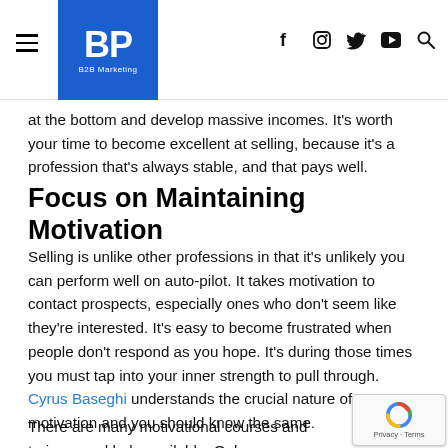BP B2B Marketing — navigation header with social icons
at the bottom and develop massive incomes. It's worth your time to become excellent at selling, because it's a profession that's always stable, and that pays well.
Focus on Maintaining Motivation
Selling is unlike other professions in that it's unlikely you can perform well on auto-pilot. It takes motivation to contact prospects, especially ones who don't seem like they're interested. It's easy to become frustrated when people don't respond as you hope. It's during those times you must tap into your inner strength to pull through. Cyrus Baseghi understands the crucial nature of proper motivation and you should know the same.
There are many motivational courses and trainers and help available. Only you can decide which ones motivate you